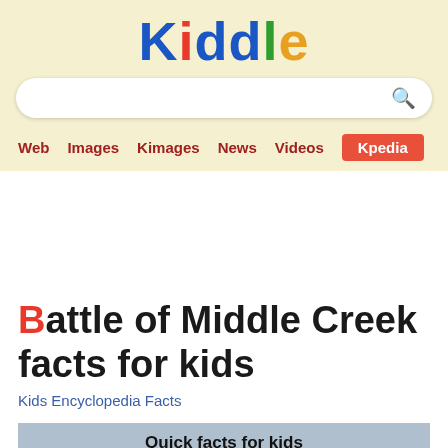Kiddle
Web  Images  Kimages  News  Videos  Kpedia
Battle of Middle Creek facts for kids
Kids Encyclopedia Facts
Quick facts for kids